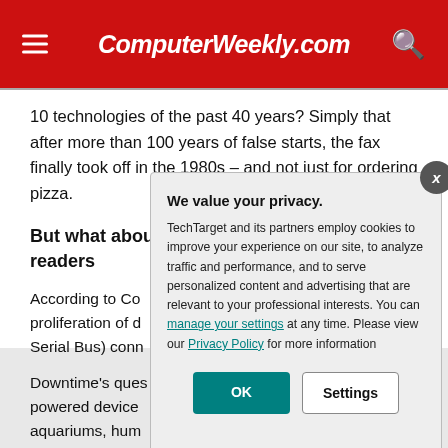ComputerWeekly.com
10 technologies of the past 40 years? Simply that after more than 100 years of false starts, the fax finally took off in the 1980s – and not just for ordering pizza.
But what about readers
According to Co proliferation of d Serial Bus) conn
Downtime's ques powered device aquariums, hum that are all USB
We value your privacy. TechTarget and its partners employ cookies to improve your experience on our site, to analyze traffic and performance, and to serve personalized content and advertising that are relevant to your professional interests. You can manage your settings at any time. Please view our Privacy Policy for more information